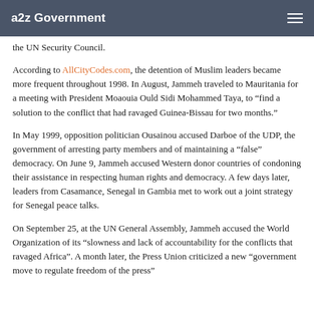a2z Government
the UN Security Council.
According to AllCityCodes.com, the detention of Muslim leaders became more frequent throughout 1998. In August, Jammeh traveled to Mauritania for a meeting with President Moaouia Ould Sidi Mohammed Taya, to “find a solution to the conflict that had ravaged Guinea-Bissau for two months.”
In May 1999, opposition politician Ousainou accused Darboe of the UDP, the government of arresting party members and of maintaining a “false” democracy. On June 9, Jammeh accused Western donor countries of condoning their assistance in respecting human rights and democracy. A few days later, leaders from Casamance, Senegal in Gambia met to work out a joint strategy for Senegal peace talks.
On September 25, at the UN General Assembly, Jammeh accused the World Organization of its “slowness and lack of accountability for the conflicts that ravaged Africa”. A month later, the Press Union criticized a new “government move to regulate freedom of the press”